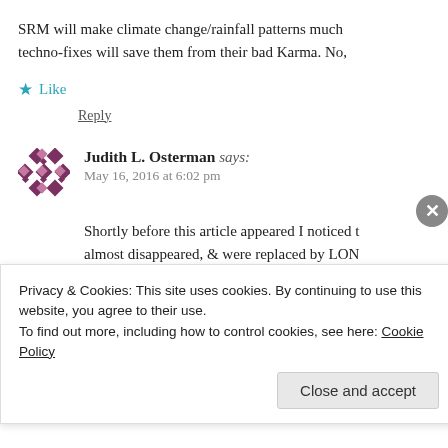SRM will make climate change/rainfall patterns much … techno-fixes will save them from their bad Karma. No,
★ Like
Reply
Judith L. Osterman says:
May 16, 2016 at 6:02 pm
Shortly before this article appeared I noticed t… almost disappeared, & were replaced by LON… somewhat hazy blue skies. Watching the sky, I… leaving these trails, which, instead of dissi…
Privacy & Cookies: This site uses cookies. By continuing to use this website, you agree to their use.
To find out more, including how to control cookies, see here: Cookie Policy
Close and accept